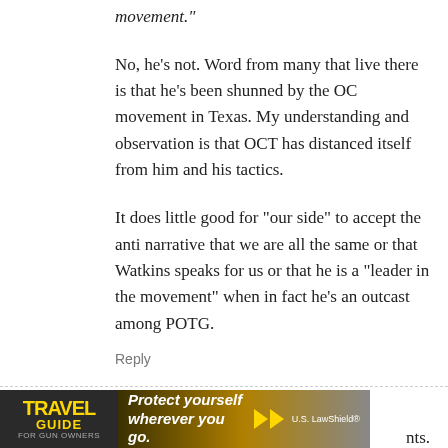movement."
No, he’s not. Word from many that live there is that he's been shunned by the OC movement in Texas. My understanding and observation is that OCT has distanced itself from him and his tactics.
It does little good for “our side” to accept the anti narrative that we are all the same or that Watkins speaks for us or that he is a “leader in the movement” when in fact he’s an outcast among POTG.
Reply
Jim Barrett
[Figure (photo): Travel Guide for Gun Owners advertisement banner with yellow text and 'Protect yourself wherever you go.' slogan with US LawShield branding]
nts.